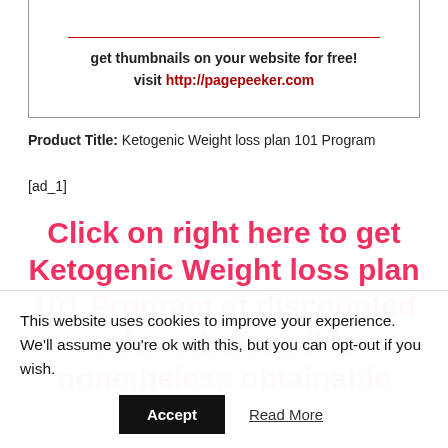[Figure (other): Box with red horizontal line and text promoting pagepeeker.com thumbnail service]
Product Title: Ketogenic Weight loss plan 101 Program
[ad_1]
Click on right here to get Ketogenic Weight loss plan 101 Program at discounted value whereas it is nonetheless obtainable
This website uses cookies to improve your experience. We'll assume you're ok with this, but you can opt-out if you wish.